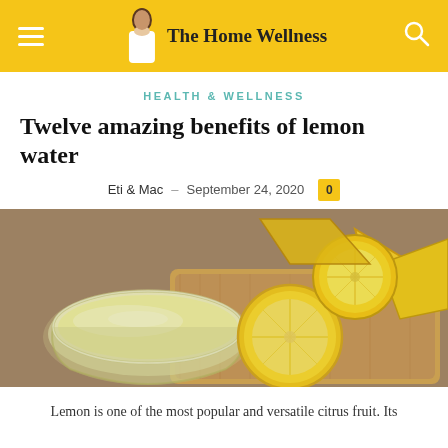The Home Wellness
HEALTH & WELLNESS
Twelve amazing benefits of lemon water
Eti & Mac – September 24, 2020
[Figure (photo): A glass bowl of lemon juice with halved and wedged lemons on a wooden cutting board]
Lemon is one of the most popular and versatile citrus fruit. Its